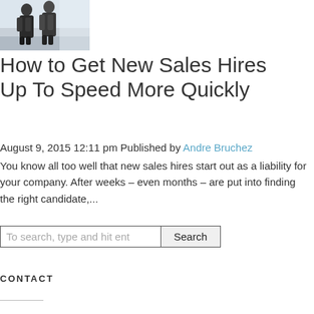[Figure (photo): Photo of two businessmen in suits, standing and talking in an office or conference setting.]
How to Get New Sales Hires Up To Speed More Quickly
August 9, 2015 12:11 pm Published by Andre Bruchez
You know all too well that new sales hires start out as a liability for your company. After weeks – even months – are put into finding the right candidate,...
To search, type and hit enter  Search
Contact